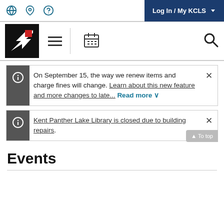Log In / My KCLS
[Figure (logo): KCLS logo - black box with white arrow and red square]
On September 15, the way we renew items and charge fines will change. Learn about this new feature and more changes to late... Read more
Kent Panther Lake Library is closed due to building repairs.
Events